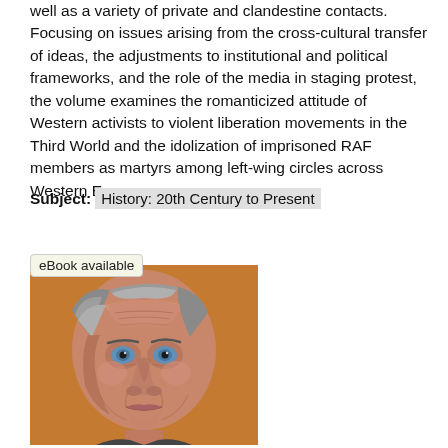well as a variety of private and clandestine contacts. Focusing on issues arising from the cross-cultural transfer of ideas, the adjustments to institutional and political frameworks, and the role of the media in staging protest, the volume examines the romanticized attitude of Western activists to violent liberation movements in the Third World and the idolization of imprisoned RAF members as martyrs among left-wing circles across Western Europe.
Subject: History: 20th Century to Present
eBook available
[Figure (illustration): Painted portrait of an elderly man with gray hair and blue eyes, depicted in a painterly style with orange/brown background tones.]